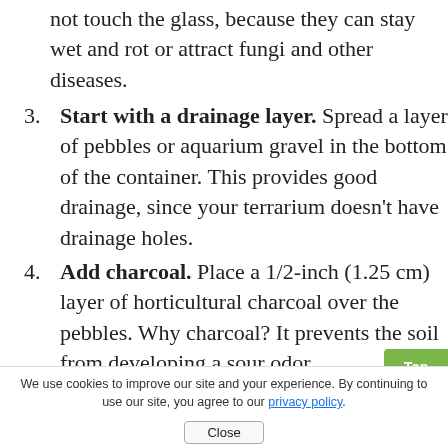not touch the glass, because they can stay wet and rot or attract fungi and other diseases.
3. Start with a drainage layer. Spread a layer of pebbles or aquarium gravel in the bottom of the container. This provides good drainage, since your terrarium doesn't have drainage holes.
4. Add charcoal. Place a 1/2-inch (1.25 cm) layer of horticultural charcoal over the pebbles. Why charcoal? It prevents the soil from developing a sour odor.
5. Spread sphagnum moss. Soak the sphagnum moss in a bowl of water for a
We use cookies to improve our site and your experience. By continuing to use our site, you agree to our privacy policy.
Close